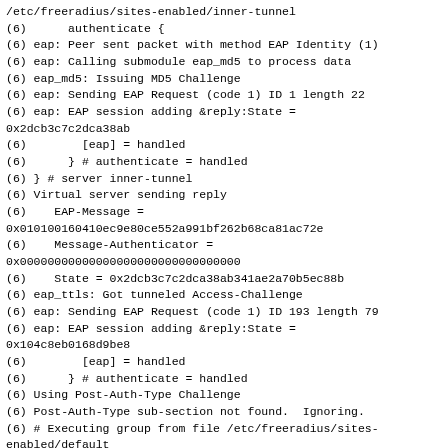/etc/freeradius/sites-enabled/inner-tunnel
(6)      authenticate {
(6) eap: Peer sent packet with method EAP Identity (1)
(6) eap: Calling submodule eap_md5 to process data
(6) eap_md5: Issuing MD5 Challenge
(6) eap: Sending EAP Request (code 1) ID 1 length 22
(6) eap: EAP session adding &reply:State =
0x2dcb3c7c2dca38ab
(6)        [eap] = handled
(6)      } # authenticate = handled
(6) } # server inner-tunnel
(6) Virtual server sending reply
(6)    EAP-Message =
0x010100160410ec9e80ce552a991bf262b68ca81ac72e
(6)    Message-Authenticator =
0x00000000000000000000000000000000
(6)    State = 0x2dcb3c7c2dca38ab341ae2a70b5ec88b
(6) eap_ttls: Got tunneled Access-Challenge
(6) eap: Sending EAP Request (code 1) ID 193 length 79
(6) eap: EAP session adding &reply:State =
0x104c8eb0168d9be8
(6)        [eap] = handled
(6)      } # authenticate = handled
(6) Using Post-Auth-Type Challenge
(6) Post-Auth-Type sub-section not found.  Ignoring.
(6) # Executing group from file /etc/freeradius/sites-enabled/default
(6) Sent Access-Challenge Id 15 from
192.168.100.201:1812 to
192.168.100.110:52775 length 0